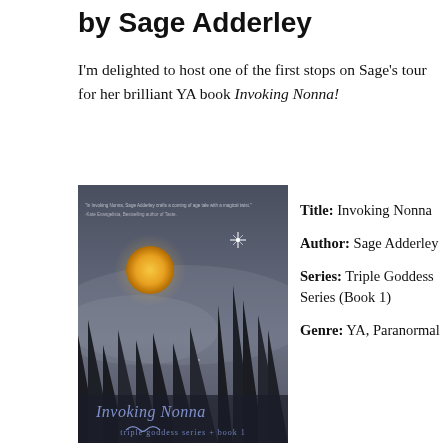by Sage Adderley
I'm delighted to host one of the first stops on Sage's tour for her brilliant YA book Invoking Nonna!
[Figure (illustration): Book cover of 'Invoking Nonna' by Sage Adderley, Triple Goddess Series Book 1. Dark atmospheric cover with a full orange/gold moon, silhouetted pine trees in mist, and a glowing star. Text at top reads a quote. Book title 'Invoking Nonna' and 'triple goddess series + book 1' appear at the bottom in stylized lettering.]
Title: Invoking Nonna
Author: Sage Adderley
Series: Triple Goddess Series (Book 1)
Genre: YA, Paranormal